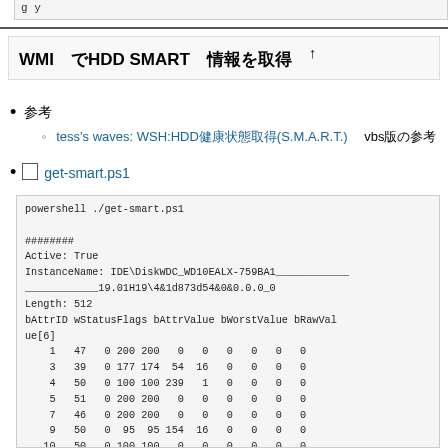g   y
WMI　でHDD SMART　情報を取得　↑
参考
tess's waves: WSH:HDD健康状態取得(S.M.A.R.T.)　vbs版の参考
get-smart.ps1
powershell ./get-smart.ps1

########
Active: True
InstanceName: IDE\DiskWDC_WD10EALX-759BA1_______________19.01H19\4&1d873d54&0&0.0.0_0
Length: 512
bAttrID wStatusFlags bAttrValue bWorstValue bRawValue[6]
    1   47   0 200 200   0   0   0   0   0   0
    3   39   0 177 174  54  16   0   0   0   0
    4   50   0 100 100 239   1   0   0   0   0
    5   51   0 200 200   0   0   0   0   0   0
    7   46   0 200 200   0   0   0   0   0   0
    9   50   0  95  95 154  16   0   0   0   0
   10   50   0 100 100   0   0   0   0   0   0
   11   50   0 100 100   0   0   0   0   0   0
   12   50   0 100 100 237   1   0   0   0   0